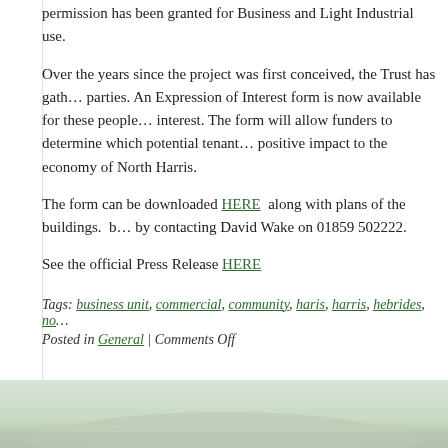permission has been granted for Business and Light Industrial use.
Over the years since the project was first conceived, the Trust has gathered a database of interested parties. An Expression of Interest form is now available for these people to register their interest. The form will allow funders to determine which potential tenants would have the most positive impact to the economy of North Harris.
The form can be downloaded HERE along with plans of the buildings. It can also be obtained by contacting David Wake on 01859 502222.
See the official Press Release HERE
Tags: business unit, commercial, community, haris, harris, hebrides, no... Posted in General | Comments Off